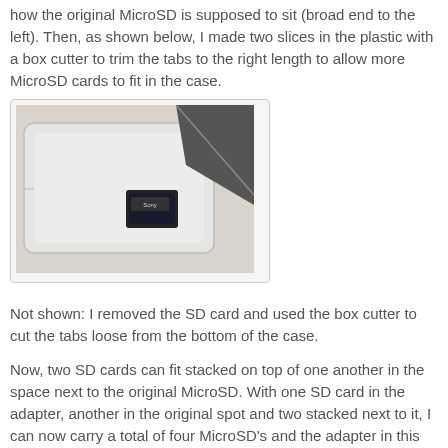how the original MicroSD is supposed to sit (broad end to the left). Then, as shown below, I made two slices in the plastic with a box cutter to trim the tabs to the right length to allow more MicroSD cards to fit in the case.
[Figure (photo): Photo of a clear plastic SD card case being cut with a dark-colored box cutter blade, with a small MicroSD card visible inside the case on a light surface.]
Not shown: I removed the SD card and used the box cutter to cut the tabs loose from the bottom of the case.
Now, two SD cards can fit stacked on top of one another in the space next to the original MicroSD. With one SD card in the adapter, another in the original spot and two stacked next to it, I can now carry a total of four MicroSD's and the adapter in this small and convenient case.